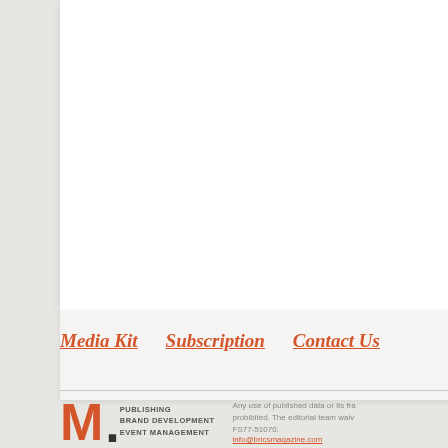Media Kit
Subscription
Contact Us
[Figure (logo): M. logo with orange M letter and dot, alongside text PUBLISHING BRAND DEVELOPMENT EVENT MANAGEMENT]
Any use of published data or its fra prohibited. The editorial team waiv FS77-51070. info@bricsmagazine.com